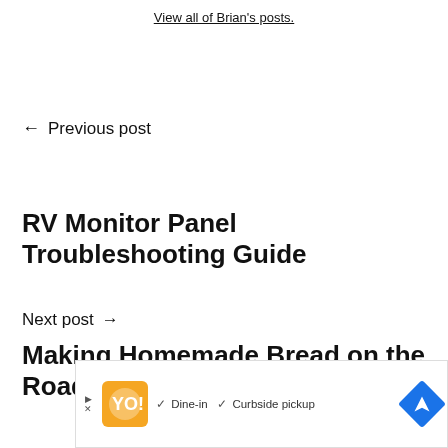View all of Brian's posts.
← Previous post
RV Monitor Panel Troubleshooting Guide
Next post →
Making Homemade Bread on the Road
[Figure (other): Advertisement banner with orange logo, dine-in and curbside pickup checkmarks, and blue navigation arrow icon]